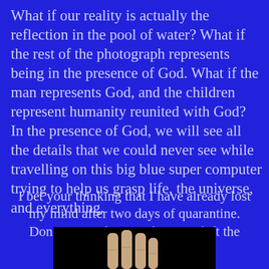What if our reality is actually the reflection in the pool of water? What if the rest of the photograph represents being in the presence of God. What if the man represents God, and the children represent humanity reunited with God? In the presence of God, we will see all the details that we could never see while travelling on this big blue super computer trying to help us grasp life, the universe, and everything.
I bet your thinking that I have already lost my mind after two days of quarantine. Don't worry about it; that train left the station years ago!
[Figure (photo): A hand with fingers visible against a black background, partially cropped at the bottom of the page.]